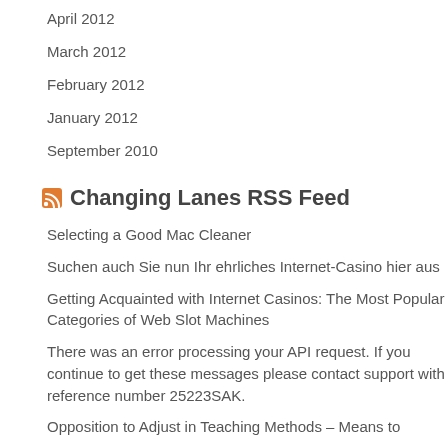April 2012
March 2012
February 2012
January 2012
September 2010
Changing Lanes RSS Feed
Selecting a Good Mac Cleaner
Suchen auch Sie nun Ihr ehrliches Internet-Casino hier aus
Getting Acquainted with Internet Casinos: The Most Popular Categories of Web Slot Machines
There was an error processing your API request. If you continue to get these messages please contact support with reference number 25223SAK.
Opposition to Adjust in Teaching Methods – Means to